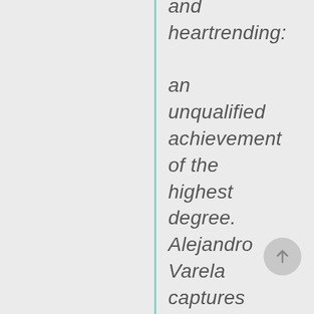and heartrending: an unqualified achievement of the highest degree. Alejandro Varela captures suburbia's gridlocked travails alongside the infinitude